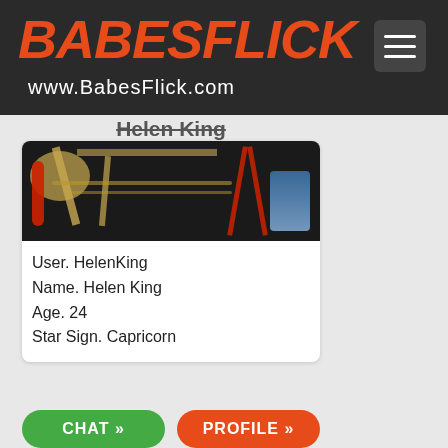BABESFLICK www.BabesFlick.com
Helen King
[Figure (photo): Photo of accessories including chains, straps, and rope in dark background with red and gold colors]
User. HelenKing
Name. Helen King
Age. 24
Star Sign. Capricorn
CHAT »  PROFILE »